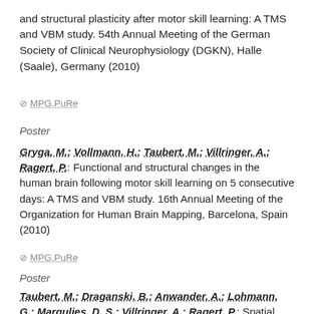and structural plasticity after motor skill learning: A TMS and VBM study. 54th Annual Meeting of the German Society of Clinical Neurophysiology (DGKN), Halle (Saale), Germany (2010)
⊘ MPG.PuRe
Poster
Gryga, M.; Vollmann, H.; Taubert, M.; Villringer, A.; Ragert, P.: Functional and structural changes in the human brain following motor skill learning on 5 consecutive days: A TMS and VBM study. 16th Annual Meeting of the Organization for Human Brain Mapping, Barcelona, Spain (2010)
⊘ MPG.PuRe
Poster
Taubert, M.; Draganski, B.; Anwander, A.; Lohmann, G.; Margulies, D. S.; Villringer, A.; Ragert, P.: Spatial and